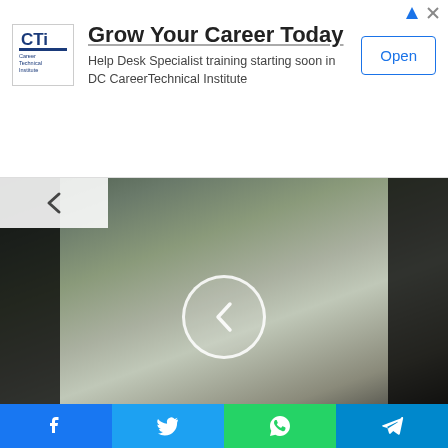[Figure (screenshot): Advertisement banner for Career Technical Institute with logo, headline 'Grow Your Career Today', subtext about Help Desk Specialist training, and an Open button]
[Figure (screenshot): Video thumbnail showing person on jet ski in a marina with a circular back-navigation arrow overlay]
Video: Hittin' it hard from the jet ski
[Figure (screenshot): Video thumbnail showing a large building fire with flames and smoke, with circular play/forward button overlay]
[Figure (screenshot): Social sharing bar with Facebook, Twitter, WhatsApp, and Telegram buttons]